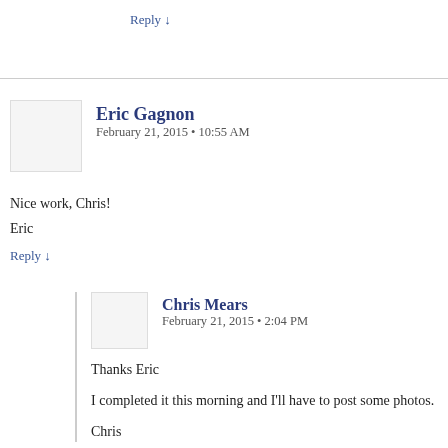Reply ↓
Eric Gagnon
February 21, 2015 • 10:55 AM
Nice work, Chris!
Eric
Reply ↓
Chris Mears
February 21, 2015 • 2:04 PM
Thanks Eric

I completed it this morning and I'll have to post some photos.

Chris